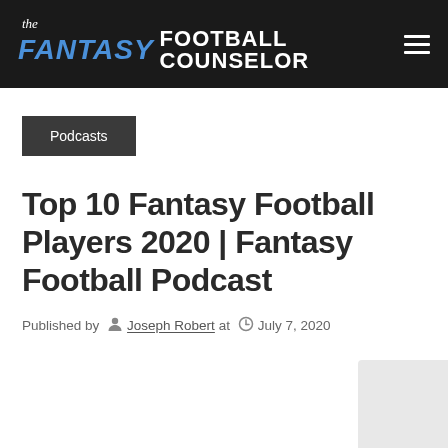the FANTASY FOOTBALL COUNSELOR
Podcasts
Top 10 Fantasy Football Players 2020 | Fantasy Football Podcast
Published by Joseph Robert at July 7, 2020